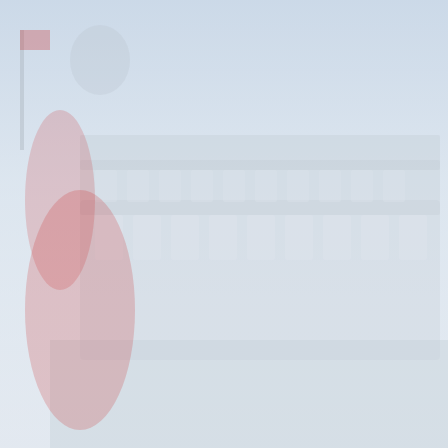[Figure (illustration): Colosseum background with Roman soldier figure in red cape on the left side of the page, faded/watermark style]
mortadella, c...
traditional Ro...
with sauce, R...
...continue
1 2 3 4 5 6 7 8 9 10 11
RESTAURANT IN
THE BEST OF ROME
FOR CHILDREN
WINE BARS
FOR GROUPS
INNS
BOOKS BAR
PIZZERIAS
ETHIC CLUBS
ROMANTICS
AROUND ROME
IN MUSEUMS
Find a
Name
Type
Area
Cooking...
Fixed-p...
COMPLETE LIST OF RESTAURANTS